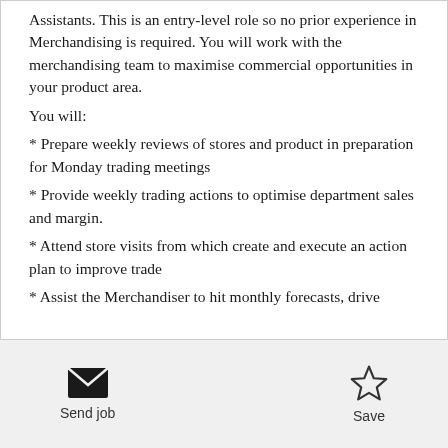Assistants. This is an entry-level role so no prior experience in Merchandising is required. You will work with the merchandising team to maximise commercial opportunities in your product area.
You will:
* Prepare weekly reviews of stores and product in preparation for Monday trading meetings
* Provide weekly trading actions to optimise department sales and margin.
* Attend store visits from which create and execute an action plan to improve trade
* Assist the Merchandiser to hit monthly forecasts, drive
[Figure (other): Send job button with envelope icon on the left and Save button with star icon on the right, in a footer bar]